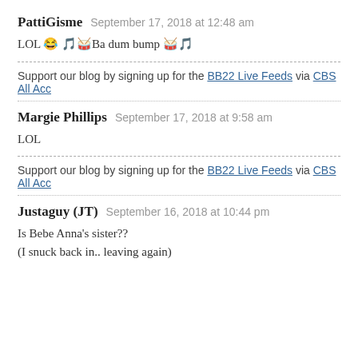PattiGisme  September 17, 2018 at 12:48 am
LOL 😂 🎵🥁Ba dum bump 🥁🎵
Support our blog by signing up for the BB22 Live Feeds via CBS All Acc…
Margie Phillips  September 17, 2018 at 9:58 am
LOL
Support our blog by signing up for the BB22 Live Feeds via CBS All Acc…
Justaguy (JT)  September 16, 2018 at 10:44 pm
Is Bebe Anna's sister??
(I snuck back in.. leaving again)